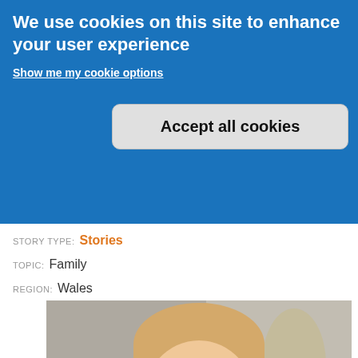We use cookies on this site to enhance your user experience
Show me my cookie options
Accept all cookies
STORY TYPE: Stories
TOPIC: Family
REGION: Wales
[Figure (photo): Young boy with blonde hair and black-rimmed glasses, photographed in front of a blurred background. A colorful dot pattern logo (arc of multicolored dots) overlays the bottom-left of the image.]